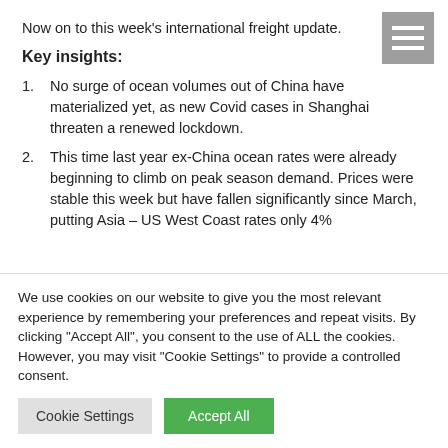Now on to this week's international freight update.
Key insights:
No surge of ocean volumes out of China have materialized yet, as new Covid cases in Shanghai threaten a renewed lockdown.
This time last year ex-China ocean rates were already beginning to climb on peak season demand. Prices were stable this week but have fallen significantly since March, putting Asia – US West Coast rates only 4%
We use cookies on our website to give you the most relevant experience by remembering your preferences and repeat visits. By clicking "Accept All", you consent to the use of ALL the cookies. However, you may visit "Cookie Settings" to provide a controlled consent.